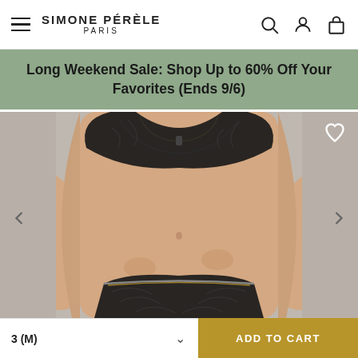SIMONE PÉRÈLE PARIS
Long Weekend Sale: Shop Up to 60% Off Your Favorites (Ends 9/6)
[Figure (photo): Woman modeling black lace lingerie set (bra and underwear) against a gray background, hands on hips, showing midriff.]
3 (M)
ADD TO CART